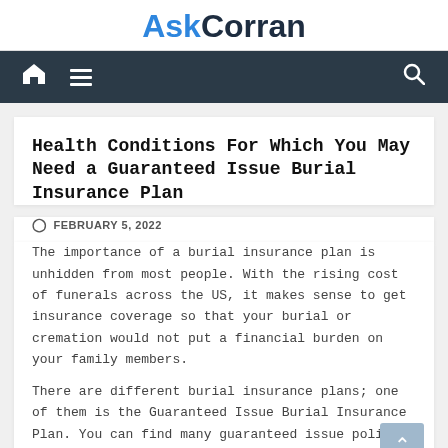AskCorran
Health Conditions For Which You May Need a Guaranteed Issue Burial Insurance Plan
FEBRUARY 5, 2022
The importance of a burial insurance plan is unhidden from most people. With the rising cost of funerals across the US, it makes sense to get insurance coverage so that your burial or cremation would not put a financial burden on your family members.
There are different burial insurance plans; one of them is the Guaranteed Issue Burial Insurance Plan. You can find many guaranteed issue policies like Gerber final expense insurance